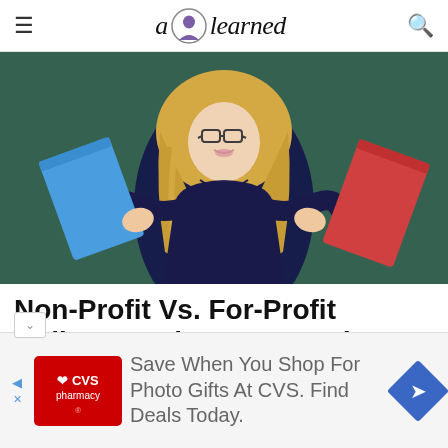a learned
[Figure (photo): Young blonde woman wearing glasses and a dark navy top, holding a blue folder/book in her left hand and a red folder/book in her right hand, posed against a dark green chalkboard background.]
Non-Profit Vs. For-Profit Colleges: What You Need To Kn...
[Figure (other): Advertisement banner: CVS Pharmacy logo on red background with text 'Save When You Shop For Photo Gifts At CVS. Find Deals Today.' and a blue diamond navigation arrow icon.]